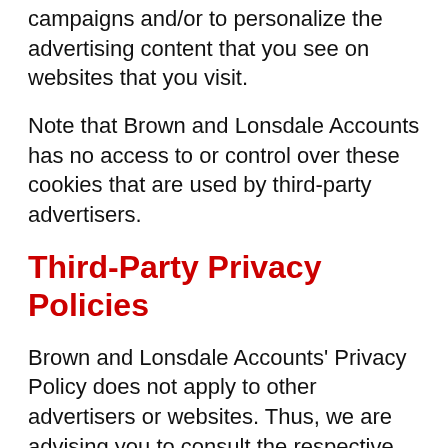campaigns and/or to personalize the advertising content that you see on websites that you visit.
Note that Brown and Lonsdale Accounts has no access to or control over these cookies that are used by third-party advertisers.
Third-Party Privacy Policies
Brown and Lonsdale Accounts' Privacy Policy does not apply to other advertisers or websites. Thus, we are advising you to consult the respective Privacy Policies of these third-party ad servers for more detailed information. It may include their practices and instructions about how to opt-out of certain options.
You can choose to disable cookies through your